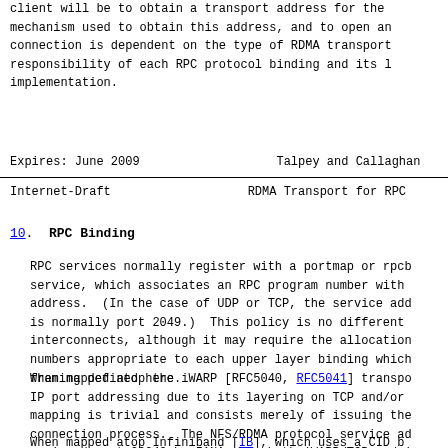client will be to obtain a transport address for the mechanism used to obtain this address, and to open an connection is dependent on the type of RDMA transport responsibility of each RPC protocol binding and its l implementation.
Expires: June 2009                    Talpey and Callaghan
Internet-Draft                    RDMA Transport for RPC
10.  RPC Binding
RPC services normally register with a portmap or rpcb service, which associates an RPC program number with address.  (In the case of UDP or TCP, the service add is normally port 2049.)  This policy is no different interconnects, although it may require the allocation numbers appropriate to each upper layer binding which framing defined here.
When mapped atop the iWARP [RFC5040, RFC5041] transpo IP port addressing due to its layering on TCP and/or mapping is trivial and consists merely of issuing the connection process.  The NFS/RDMA protocol service ad assigned port 20049 by IANA, for both iWARP/TCP and i
When mapped atop Infiniband [IB], which uses a CID b